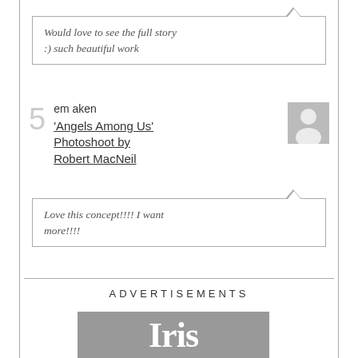Would love to see the full story :) such beautiful work
5  em aken  'Angels Among Us' Photoshoot by Robert MacNeil
Love this concept!!!! I want more!!!!
ADVERTISEMENTS
[Figure (logo): Iris logo on grey background, partial view showing 'Iris' text]